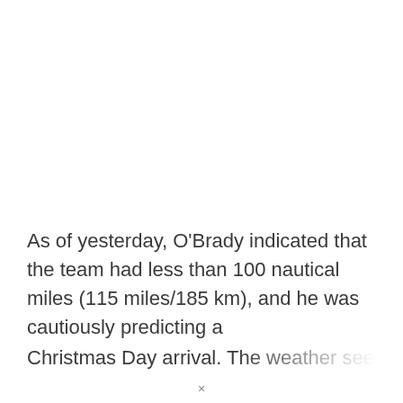As of yesterday, O'Brady indicated that the team had less than 100 nautical miles (115 miles/185 km), and he was cautiously predicting a Christmas Day arrival. The weather seems to be
×